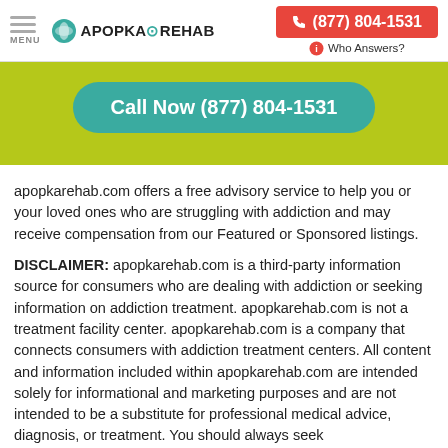MENU | APOPKA REHAB | (877) 804-1531 | Who Answers?
[Figure (screenshot): Green banner with teal rounded button reading 'Call Now (877) 804-1531']
apopkarehab.com offers a free advisory service to help you or your loved ones who are struggling with addiction and may receive compensation from our Featured or Sponsored listings.
DISCLAIMER: apopkarehab.com is a third-party information source for consumers who are dealing with addiction or seeking information on addiction treatment. apopkarehab.com is not a treatment facility center. apopkarehab.com is a company that connects consumers with addiction treatment centers. All content and information included within apopkarehab.com are intended solely for informational and marketing purposes and are not intended to be a substitute for professional medical advice, diagnosis, or treatment. You should always seek